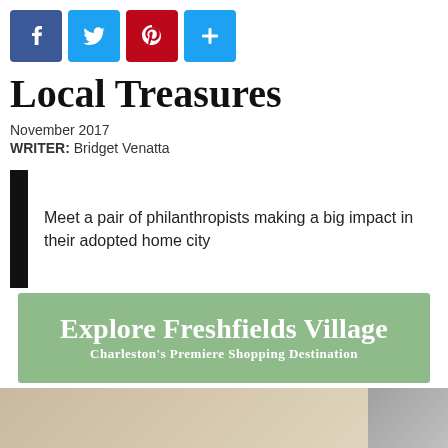[Figure (infographic): Row of four social media share icons: Facebook (blue), Twitter (light blue), Pinterest (red), and a blue plus/add button]
Local Treasures
November 2017
WRITER: Bridget Venatta
Meet a pair of philanthropists making a big impact in their adopted home city
[Figure (infographic): Green banner advertisement reading 'Explore Freshfields Village' with subtitle 'Charleston's Premiere Shopping Destination']
[Figure (photo): Partial photo strip at bottom of page, two images partially visible]